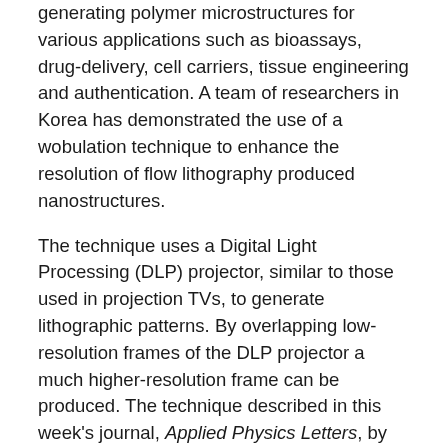generating polymer microstructures for various applications such as bioassays, drug-delivery, cell carriers, tissue engineering and authentication. A team of researchers in Korea has demonstrated the use of a wobulation technique to enhance the resolution of flow lithography produced nanostructures.
The technique uses a Digital Light Processing (DLP) projector, similar to those used in projection TVs, to generate lithographic patterns. By overlapping low-resolution frames of the DLP projector a much higher-resolution frame can be produced. The technique described in this week's journal, Applied Physics Letters, by AIP Publishing, could improve 3-D printer performance.
At the heart of the DLP projector is a Digital Micromirror Device (DMD), a small electro-mechanical device which is fabricated through a Micro Electro Mechanical System (MEMS) process. The DMD is essentially an array of very